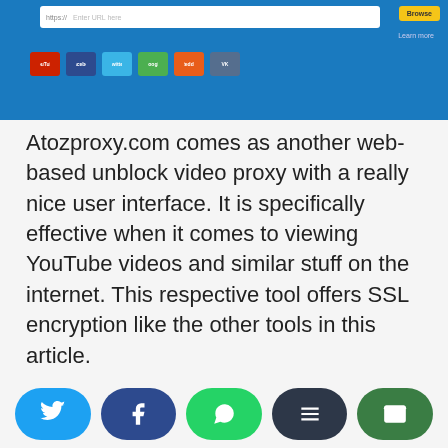[Figure (screenshot): Screenshot of Atozproxy.com website showing URL bar, Browse button, Learn more link, and social media sharing buttons for YouTube, Facebook, Twitter, Google, Reddit, and VKontakte on a blue background.]
Atozproxy.com comes as another web-based unblock video proxy with a really nice user interface. It is specifically effective when it comes to viewing YouTube videos and similar stuff on the internet. This respective tool offers SSL encryption like the other tools in this article.
Apart from that, this product perfectly supports mobile devices. That means you
[Figure (screenshot): Bottom share bar with Twitter, Facebook, WhatsApp, Buffer, and Email share buttons.]